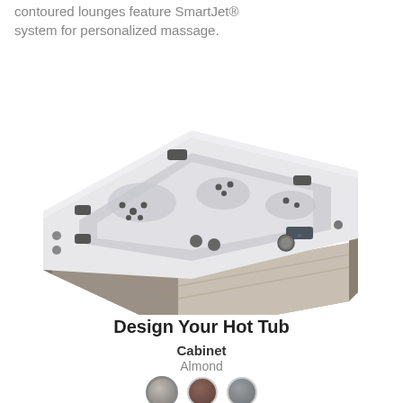contoured lounges feature SmartJet® system for personalized massage.
[Figure (photo): Top-down angled view of a white acrylic hot tub with gray/taupe wood-look cabinet siding, multiple jet seats including a lounge seat, gray headrests, and a circular control panel.]
Design Your Hot Tub
Cabinet
Almond
[Figure (other): Three color swatches for cabinet options: Almond (light gray-beige), brown, and gray, displayed as circular buttons.]